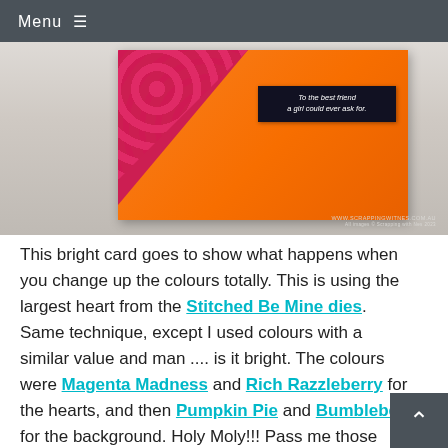Menu
[Figure (photo): A bright orange greeting card with a red/pink patterned heart in the corner, text reads 'To the best friend a girl could ever ask for.' on a dark background label. Website watermark visible at bottom right.]
This bright card goes to show what happens when you change up the colours totally. This is using the largest heart from the Stitched Be Mine dies. Same technique, except I used colours with a similar value and man .... is it bright. The colours were Magenta Madness and Rich Razzleberry for the hearts, and then Pumpkin Pie and Bumblebee for the background. Holy Moly!!! Pass me those sunglasses please!!!!